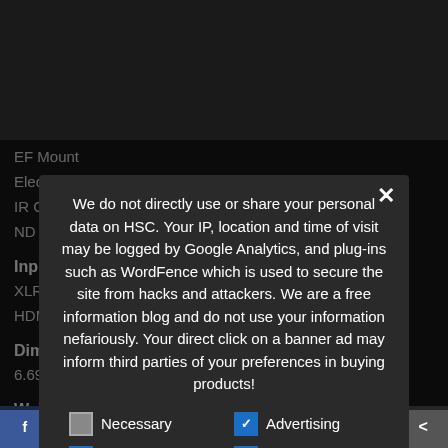5.7K Raw Output (future update)
Lens / Image Path
EF Mount
Electronic Image Stabilization
IR Cut In/Out
ND Filter (2, 4, 6 stops)
Inputs / Outputs
XLR Audio
HDMI & SDI
Dimensions
6.69" x 5.31" x 5.23" (LxHxW)
Weight
2.65 lbs
We do not directly use or share your personal data on HSC. Your IP, location and time of visit may be logged by Google Analytics, and plug-ins such as WordFence which is used to secure the site from hacks and attackers. We are a free information blog and do not use your information nefariously. Your direct click on a banner ad may inform third parties of your preferences in buying products!
Necessary | Advertising | Analytics | Other
› Privacy Preferences
I Agree